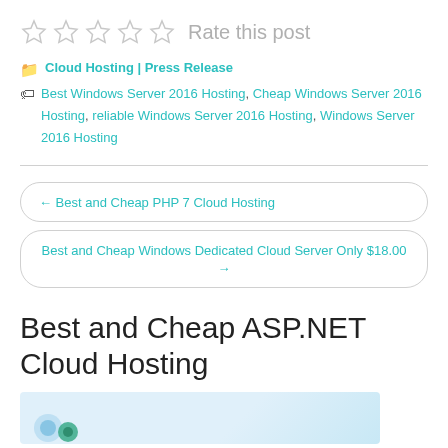[Figure (other): Five empty star rating icons followed by text 'Rate this post']
Cloud Hosting | Press Release
Best Windows Server 2016 Hosting, Cheap Windows Server 2016 Hosting, reliable Windows Server 2016 Hosting, Windows Server 2016 Hosting
← Best and Cheap PHP 7 Cloud Hosting
Best and Cheap Windows Dedicated Cloud Server Only $18.00 →
Best and Cheap ASP.NET Cloud Hosting
[Figure (illustration): Partial illustration with blue gears/cogs on light blue background]